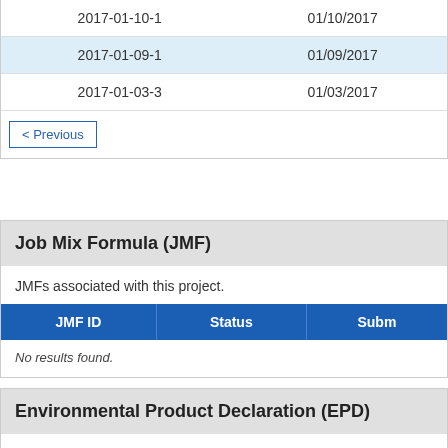|  |  |
| --- | --- |
| 2017-01-10-1 | 01/10/2017 |
| 2017-01-09-1 | 01/09/2017 |
| 2017-01-03-3 | 01/03/2017 |
< Previous
Job Mix Formula (JMF)
JMFs associated with this project.
| JMF ID | Status | Subm... |
| --- | --- | --- |
No results found.
Environmental Product Declaration (EPD)
EPDs submitted for this project.